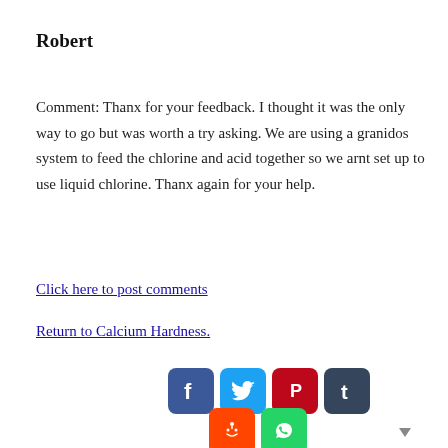Robert
Comment: Thanx for your feedback. I thought it was the only way to go but was worth a try asking. We are using a granidos system to feed the chlorine and acid together so we arnt set up to use liquid chlorine. Thanx again for your help.
Click here to post comments
Return to Calcium Hardness.
[Figure (infographic): Social media share icons: Facebook (blue), Twitter (light blue), Pinterest (red), Tumblr (dark blue), Reddit (orange), WhatsApp (green), and a dropdown arrow]